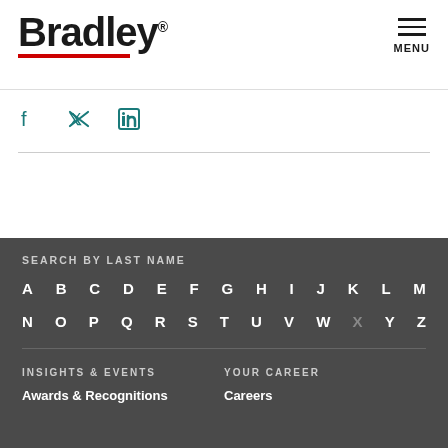Bradley
[Figure (logo): Bradley law firm logo with red underline and registered trademark symbol]
[Figure (infographic): Social media icons: Facebook, Twitter, LinkedIn in teal color]
SEARCH BY LAST NAME
A B C D E F G H I J K L M N O P Q R S T U V W X Y Z
INSIGHTS & EVENTS
Awards & Recognitions
YOUR CAREER
Careers